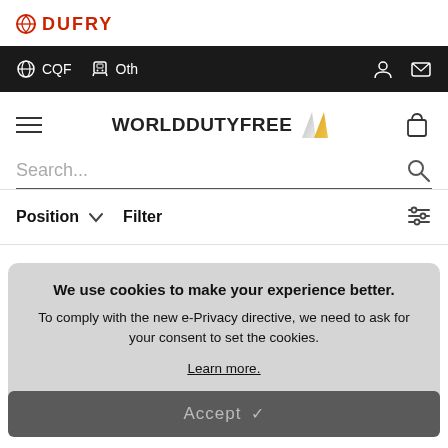[Figure (logo): Dufry logo with red icon and red bold text 'DUFRY']
CQF  Oth
[Figure (logo): WORLDDUTYFREE logo with metallic arrow icon]
Search...
Position  ∨  Filter
We use cookies to make your experience better. To comply with the new e-Privacy directive, we need to ask for your consent to set the cookies. Learn more.
Accept ✓